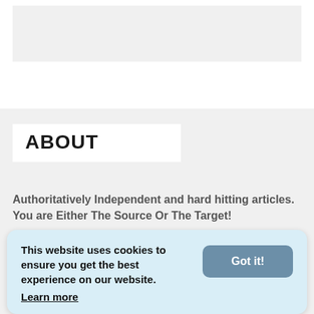[Figure (other): Gray advertisement/image placeholder box at the top of the page]
ABOUT
Authoritatively Independent and hard hitting articles. You are Either The Source Or The Target!
[Figure (infographic): Social media icons: Facebook, Twitter, Instagram, YouTube, Telegram, WhatsApp]
This website uses cookies to ensure you get the best experience on our website. Learn more
INSTAGRAM ...